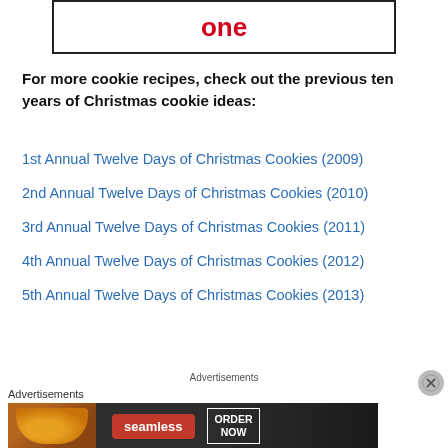[Figure (other): Box with bold red text 'one' centered inside a black border rectangle]
For more cookie recipes, check out the previous ten years of Christmas cookie ideas:
1st Annual Twelve Days of Christmas Cookies (2009)
2nd Annual Twelve Days of Christmas Cookies (2010)
3rd Annual Twelve Days of Christmas Cookies (2011)
4th Annual Twelve Days of Christmas Cookies (2012)
5th Annual Twelve Days of Christmas Cookies (2013)
Advertisements
[Figure (photo): Seamless food delivery advertisement banner with pizza image, Seamless logo, and ORDER NOW button]